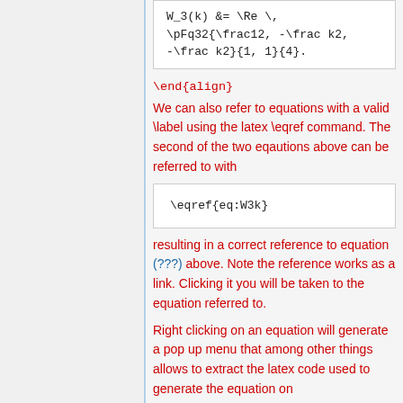\end{align}
We can also refer to equations with a valid \label using the latex \eqref command. The second of the two eqautions above can be referred to with
resulting in a correct reference to equation (???) above. Note the reference works as a link. Clicking it you will be taken to the equation referred to.
Right clicking on an equation will generate a pop up menu that among other things allows to extract the latex code used to generate the equation on